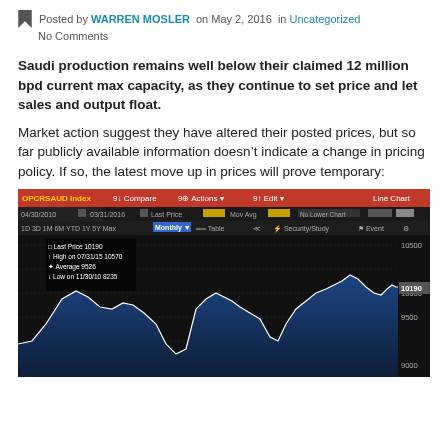Posted by WARREN MOSLER on May 2, 2016 in Uncategorized
No Comments
Saudi production remains well below their claimed 12 million bpd current max capacity, as they continue to set price and let sales and output float.
Market action suggest they have altered their posted prices, but so far publicly available information doesn’t indicate a change in pricing policy. If so, the latest move up in prices will prove temporary:
[Figure (continuous-plot): Bloomberg terminal line chart showing OPCRSAUD Index (Saudi crude oil price index) from 04/30/2010 to 03/31/2016. Last Price: 10190, High on 07/31/15: 10570, Average: 9526, Low on 11/30/10: 8235. Y-axis ranges from approximately 9000 to 10500. The chart shows a line area chart in dark blue/navy with white outline on a black background.]